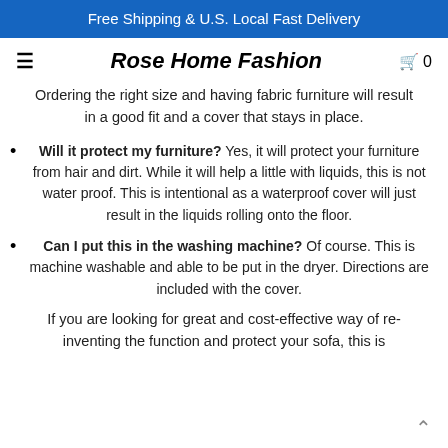Free Shipping & U.S. Local Fast Delivery
Rose Home Fashion
Ordering the right size and having fabric furniture will result in a good fit and a cover that stays in place.
Will it protect my furniture? Yes, it will protect your furniture from hair and dirt. While it will help a little with liquids, this is not water proof. This is intentional as a waterproof cover will just result in the liquids rolling onto the floor.
Can I put this in the washing machine? Of course. This is machine washable and able to be put in the dryer. Directions are included with the cover.
If you are looking for great and cost-effective way of re-inventing the function and protect your sofa, this is